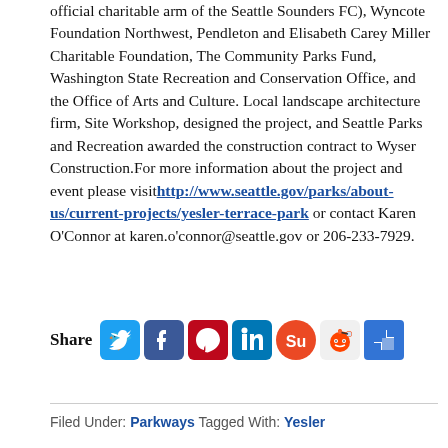official charitable arm of the Seattle Sounders FC), Wyncote Foundation Northwest, Pendleton and Elisabeth Carey Miller Charitable Foundation, The Community Parks Fund, Washington State Recreation and Conservation Office, and the Office of Arts and Culture. Local landscape architecture firm, Site Workshop, designed the project, and Seattle Parks and Recreation awarded the construction contract to Wyser Construction.For more information about the project and event please visit http://www.seattle.gov/parks/about-us/current-projects/yesler-terrace-park or contact Karen O'Connor at karen.o'connor@seattle.gov or 206-233-7929.
[Figure (infographic): Share section with social media icons: Twitter, Facebook, Pinterest, LinkedIn, StumbleUpon, Reddit, Delicious]
Filed Under: Parkways Tagged With: Yesler